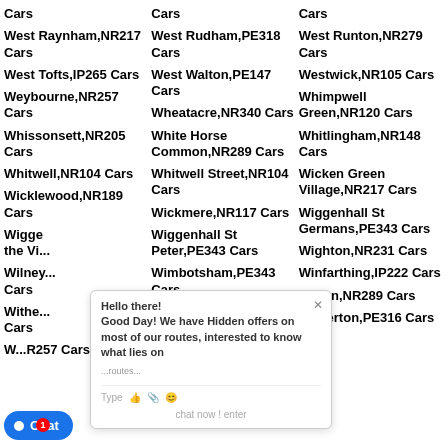Cars
West Raynham,NR217 Cars
West Tofts,IP265 Cars
Weybourne,NR257 Cars
Whissonsett,NR205 Cars
Whitwell,NR104 Cars
Wicklewood,NR189 Cars
Wigge... the Vi...
Wilney... Cars
Withe... Cars
W...R257 Cars
Cars
West Rudham,PE318 Cars
West Walton,PE147 Cars
Wheatacre,NR340 Cars
White Horse Common,NR289 Cars
Whitwell Street,NR104 Cars
Wickmere,NR117 Cars
Wiggenhall St Peter,PE343 Cars
Wimbotsham,PE343 Cars
Witton,NR135 Cars
Wolferd Green,NR151 Cars
Cars
West Runton,NR279 Cars
Westwick,NR105 Cars
Whimpwell Green,NR120 Cars
Whitlingham,NR148 Cars
Wicken Green Village,NR217 Cars
Wiggenhall St Germans,PE343 Cars
Wighton,NR231 Cars
Winfarthing,IP222 Cars
Witton,NR289 Cars
Wolferton,PE316 Cars